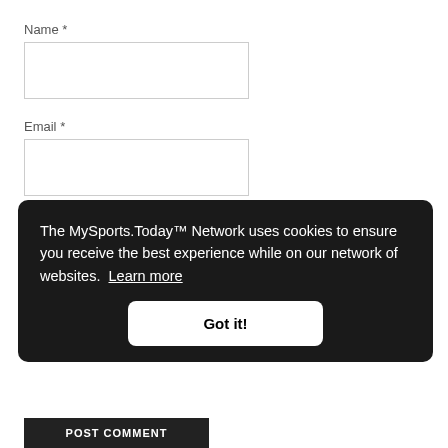Name *
[Figure (other): Name input text field, empty]
Email *
[Figure (other): Email input text field, empty]
Website
Save my name, email, and website in this browser for the next time I comment.
POST COMMENT
The MySports.Today™ Network uses cookies to ensure you receive the best experience while on our network of websites. Learn more
Got it!